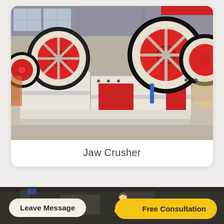[Figure (photo): Jaw crusher machines with large red and black flywheels and white/red bodies, photographed in an industrial factory warehouse setting]
Jaw Crusher
[Figure (photo): Partial photo strip of industrial machinery in the background of the bottom bar]
Leave Message
[Figure (illustration): Small icon of a person/consultant in a suit]
Free Consultation